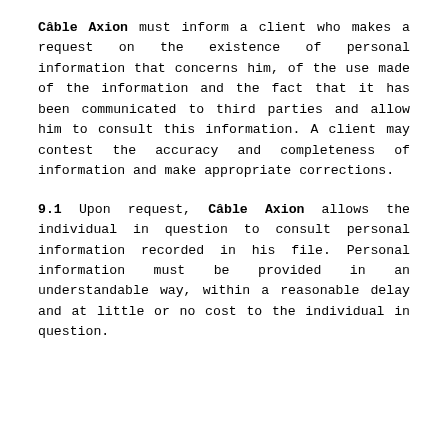Câble Axion must inform a client who makes a request on the existence of personal information that concerns him, of the use made of the information and the fact that it has been communicated to third parties and allow him to consult this information. A client may contest the accuracy and completeness of information and make appropriate corrections.
9.1 Upon request, Câble Axion allows the individual in question to consult personal information recorded in his file. Personal information must be provided in an understandable way, within a reasonable delay and at little or no cost to the individual in question.